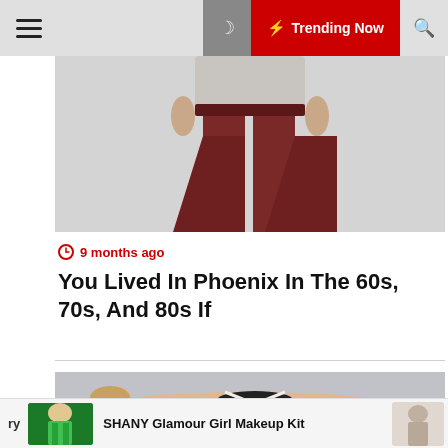Trending Now
[Figure (photo): Photo of person wearing dark maroon wide-leg pants, cropped at waist]
9 months ago
You Lived In Phoenix In The 60s, 70s, And 80s If
[Figure (photo): Photo of a woman lying down wearing a white and black bikini against a light background]
ry
[Figure (photo): Thumbnail showing green metallic clothing at an event]
SHANY Glamour Girl Makeup Kit
[Figure (photo): Small thumbnail image on the right side of ad bar]